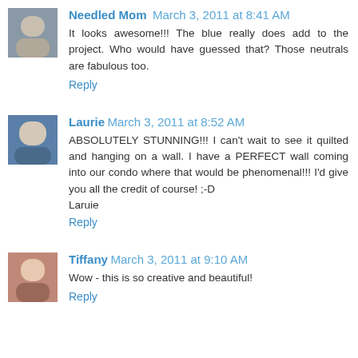Needled Mom  March 3, 2011 at 8:41 AM
It looks awesome!!! The blue really does add to the project. Who would have guessed that? Those neutrals are fabulous too.
Reply
Laurie  March 3, 2011 at 8:52 AM
ABSOLUTELY STUNNING!!! I can't wait to see it quilted and hanging on a wall. I have a PERFECT wall coming into our condo where that would be phenomenal!!! I'd give you all the credit of course! ;-D
Laruie
Reply
Tiffany  March 3, 2011 at 9:10 AM
Wow - this is so creative and beautiful!
Reply